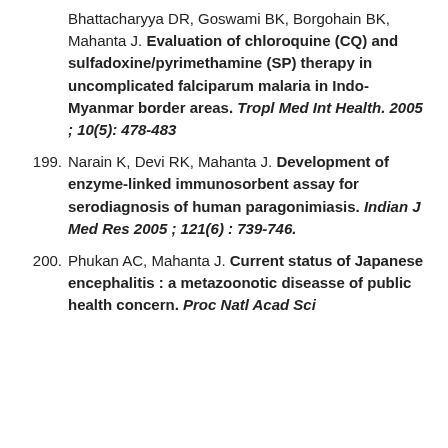Bhattacharyya DR, Goswami BK, Borgohain BK, Mahanta J. Evaluation of chloroquine (CQ) and sulfadoxine/pyrimethamine (SP) therapy in uncomplicated falciparum malaria in Indo-Myanmar border areas. Tropl Med Int Health. 2005 ; 10(5): 478-483
199. Narain K, Devi RK, Mahanta J. Development of enzyme-linked immunosorbent assay for serodiagnosis of human paragonimiasis. Indian J Med Res 2005 ; 121(6) : 739-746.
200. Phukan AC, Mahanta J. Current status of Japanese encephalitis : a metazoonotic diseasse of public health concern. Proc Natl Acad Sci